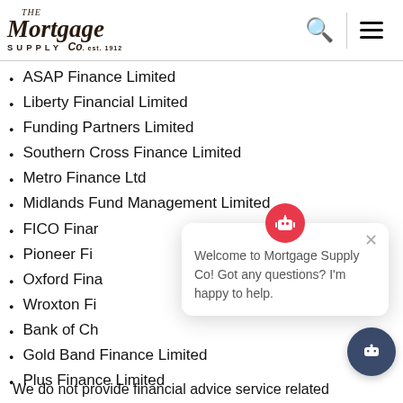The Mortgage Supply Co.
ASAP Finance Limited
Liberty Financial Limited
Funding Partners Limited
Southern Cross Finance Limited
Metro Finance Ltd
Midlands Fund Management Limited
FICO Finar[truncated by overlay]
Pioneer Fi[truncated by overlay]
Oxford Fina[truncated by overlay]
Wroxton Fi[truncated by overlay]
Bank of Ch[truncated by overlay]
Gold Band Finance Limited
Plus Finance Limited
We do not provide financial advice service related